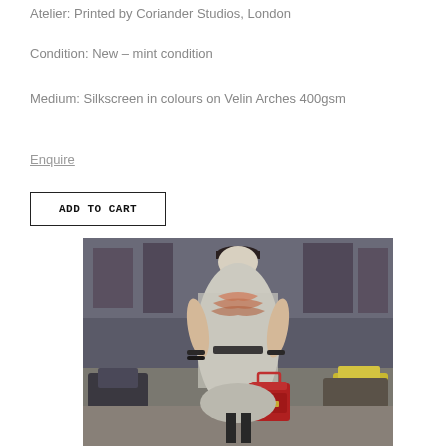Atelier: Printed by Coriander Studios, London
Condition: New – mint condition
Medium: Silkscreen in colours on Velin Arches 400gsm
Enquire
ADD TO CART
[Figure (photo): Fashion photograph of a woman in a patterned dress carrying a red handbag, walking on a street with parked cars in the background]